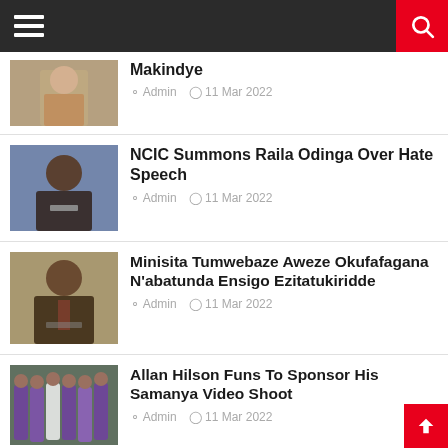Navigation bar with hamburger menu and search icon
[Figure (photo): Thumbnail photo of a person in uniform at a desk]
Makindye
Admin  11 Mar 2022
[Figure (photo): Thumbnail photo of Raila Odinga at a podium with microphones]
NCIC Summons Raila Odinga Over Hate Speech
Admin  11 Mar 2022
[Figure (photo): Thumbnail photo of a man in a suit at a podium]
Minisita Tumwebaze Aweze Okufafagana N'abatunda Ensigo Ezitatukiridde
Admin  11 Mar 2022
[Figure (photo): Thumbnail photo of a group of people in purple robes]
Allan Hilson Funs To Sponsor His Samanya Video Shoot
Admin  11 Mar 2022